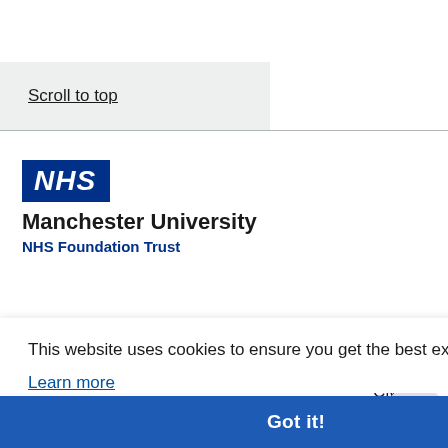Scroll to top
[Figure (logo): NHS Manchester University NHS Foundation Trust logo with blue NHS badge and organisation name]
This website uses cookies to ensure you get the best experience on our website.
Learn more
Got it!